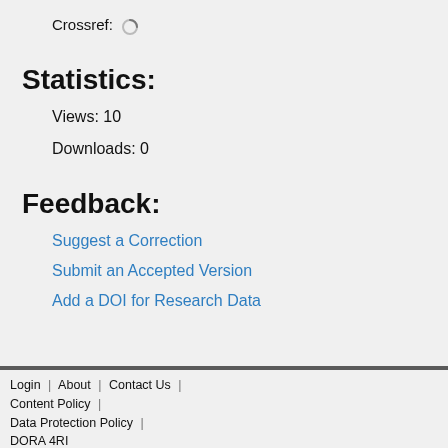Crossref: ⏳
Statistics:
Views: 10
Downloads: 0
Feedback:
Suggest a Correction
Submit an Accepted Version
Add a DOI for Research Data
Login | About | Contact Us | Content Policy | Data Protection Policy | DORA 4RI   Service Provided By   Lib4RI